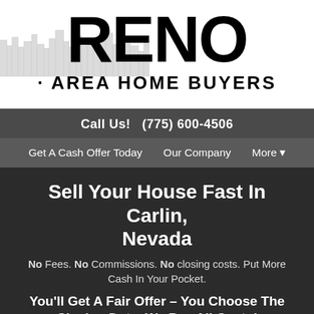[Figure (logo): Reno Area Home Buyers logo with large RENO text, city skyline illustration, and AREA HOME BUYERS subtitle]
Call Us!   (775) 600-4506
Get A Cash Offer Today    Our Company    More ▾
Sell Your House Fast In Carlin, Nevada
No Fees. No Commissions. No closing costs. Put More Cash In Your Pocket.
You'll Get A Fair Offer – You Choose The Closing Date. We Pay All Costs!
Fill out the short form…